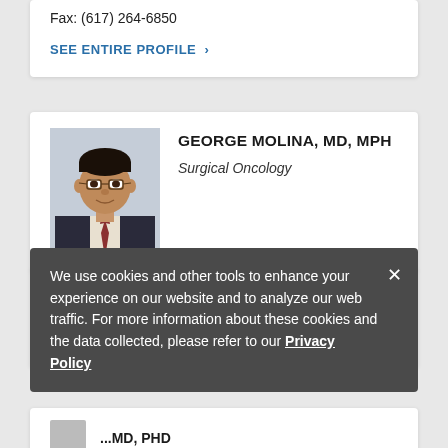Fax: (617) 264-6850
SEE ENTIRE PROFILE >
[Figure (photo): Professional headshot of George Molina, MD, MPH — a man wearing glasses in a dark suit]
GEORGE MOLINA, MD, MPH
Surgical Oncology
Phone: (617) 983-4887
Fax: (617) 264-5XXX
SEE ENTIRE PROFILE >
We use cookies and other tools to enhance your experience on our website and to analyze our web traffic. For more information about these cookies and the data collected, please refer to our Privacy Policy
...MD, PHD